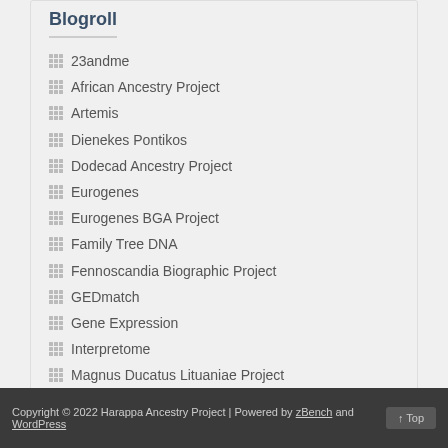Blogroll
23andme
African Ancestry Project
Artemis
Dienekes Pontikos
Dodecad Ancestry Project
Eurogenes
Eurogenes BGA Project
Family Tree DNA
Fennoscandia Biographic Project
GEDmatch
Gene Expression
Interpretome
Magnus Ducatus Lituaniae Project
Malagasy Ancestry Project
openSNP
PaintMyChromosomes
Copyright © 2022 Harappa Ancestry Project | Powered by zBench and WordPress